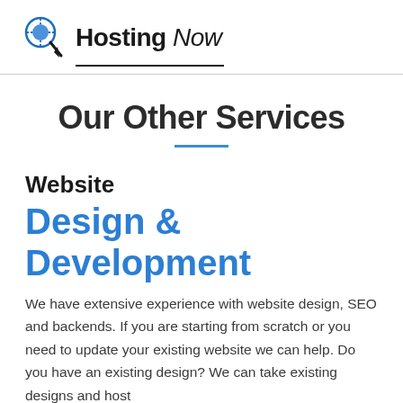Hosting Now
Our Other Services
Website Design & Development
We have extensive experience with website design, SEO and backends. If you are starting from scratch or you need to update your existing website we can help. Do you have an existing design? We can take existing designs and host...